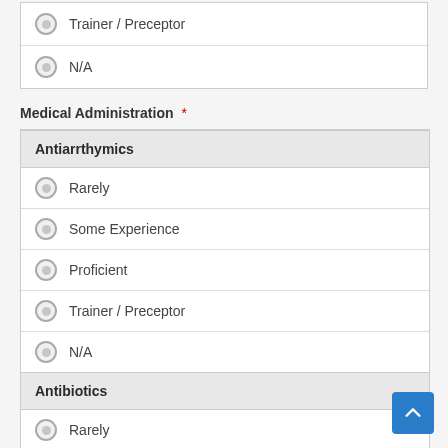Trainer / Preceptor
N/A
Medical Administration *
| Option |
| --- |
| Antiarrthymics |
| Rarely |
| Some Experience |
| Proficient |
| Trainer / Preceptor |
| N/A |
| Antibiotics |
| Rarely |
| Some Experience |
| Proficient |